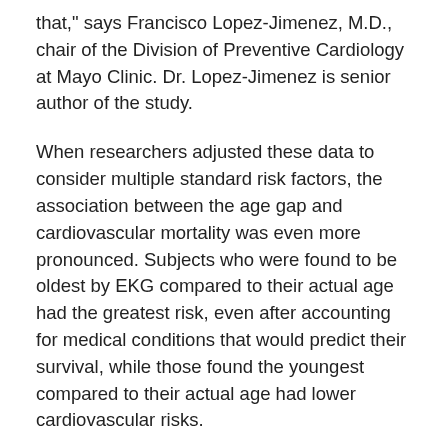that," says Francisco Lopez-Jimenez, M.D., chair of the Division of Preventive Cardiology at Mayo Clinic. Dr. Lopez-Jimenez is senior author of the study.
When researchers adjusted these data to consider multiple standard risk factors, the association between the age gap and cardiovascular mortality was even more pronounced. Subjects who were found to be oldest by EKG compared to their actual age had the greatest risk, even after accounting for medical conditions that would predict their survival, while those found the youngest compared to their actual age had lower cardiovascular risks.
Mayo Clinic researchers evaluated the12-lead EKG data of more than 25,000 subjects with an AI algorithm previously trained and validated to provide a biologic age prediction. Subjects with a positive age gap — an EKG